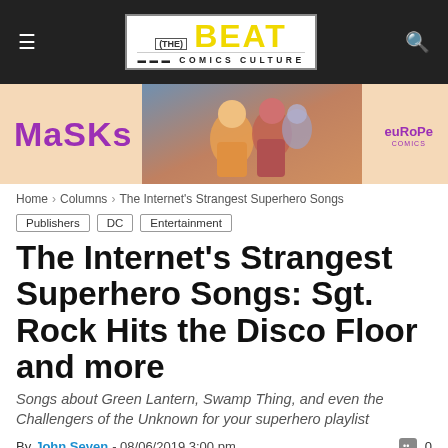The Beat — Comics Culture
[Figure (illustration): Masks comic book advertisement banner with stylized superhero characters on peach/orange background with Europe Comics logo]
Home › Columns › The Internet's Strangest Superhero Songs
Publishers  DC  Entertainment
The Internet's Strangest Superhero Songs: Sgt. Rock Hits the Disco Floor and more
Songs about Green Lantern, Swamp Thing, and even the Challengers of the Unknown for your superhero playlist
By John Seven - 08/06/2019 3:00 pm  💬 0
[Figure (photo): Partial bottom image strip showing blue and brown tones, likely a comic book image]